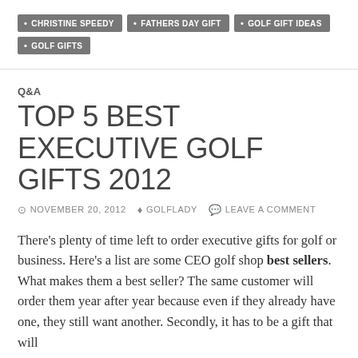CHRISTINE SPEEDY
FATHERS DAY GIFT
GOLF GIFT IDEAS
GOLF GIFTS
Q&A
TOP 5 BEST EXECUTIVE GOLF GIFTS 2012
NOVEMBER 20, 2012  GOLFLADY  LEAVE A COMMENT
There's plenty of time left to order executive gifts for golf or business. Here's a list are some CEO golf shop best sellers. What makes them a best seller? The same customer will order them year after year because even if they already have one, they still want another. Secondly, it has to be a gift that will